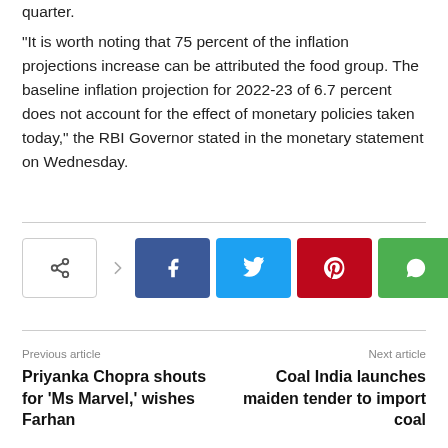quarter.
“It is worth noting that 75 percent of the inflation projections increase can be attributed the food group. The baseline inflation projection for 2022-23 of 6.7 percent does not account for the effect of monetary policies taken today,” the RBI Governor stated in the monetary statement on Wednesday.
[Figure (infographic): Social share buttons row: a native share button with < icon, a right arrow, then Facebook (blue), Twitter (cyan), Pinterest (red), and WhatsApp (green) icon buttons.]
Previous article
Priyanka Chopra shouts for ‘Ms Marvel,’ wishes Farhan
Next article
Coal India launches maiden tender to import coal